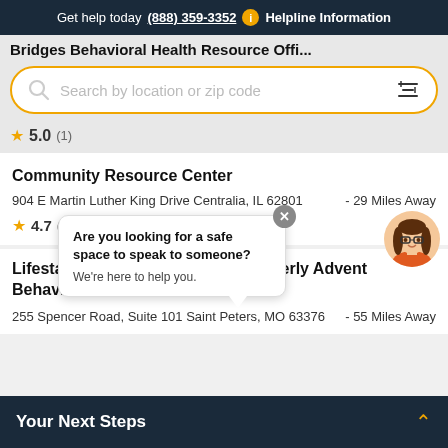Get help today (888) 359-3352  i  Helpline Information
[Figure (screenshot): Search bar with orange border: Search by location or zip code, with filter icon]
5.0 (1)
Community Resource Center
904 E Martin Luther King Drive Centralia, IL 62801
- 29 Miles Away
★ 4.7 (1)
[Figure (illustration): Chat bubble with avatar. Bubble says: Are you looking for a safe space to speak to someone? We're here to help you. Close X button. Female avatar with glasses.]
Lifestance Health - St. Peters, formerly Advent Behavioral Care
255 Spencer Road, Suite 101 Saint Peters, MO 63376
- 55 Miles Away
Your Next Steps  ∧